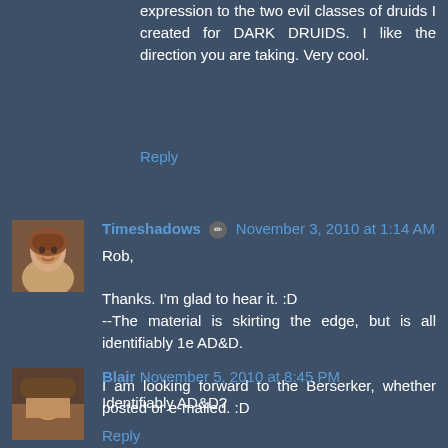expression to the two evil classes of druids I created for DARK DRUIDS. I like the direction you are taking. Very cool.
Reply
Timeshadows ✏ November 3, 2010 at 1:14 AM
Rob,

Thanks. I'm glad to hear it. :D
--The material is skirting the edge, but is all identifiably 1e AD&D.

I am looking forward to the Berserker, whether posted or e-mailed. :D
Reply
Blair November 5, 2010 at 8:45 PM
Identifiably AD&D?